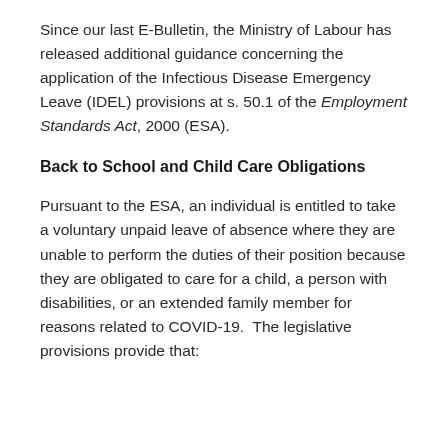Since our last E-Bulletin, the Ministry of Labour has released additional guidance concerning the application of the Infectious Disease Emergency Leave (IDEL) provisions at s. 50.1 of the Employment Standards Act, 2000 (ESA).
Back to School and Child Care Obligations
Pursuant to the ESA, an individual is entitled to take a voluntary unpaid leave of absence where they are unable to perform the duties of their position because they are obligated to care for a child, a person with disabilities, or an extended family member for reasons related to COVID-19.  The legislative provisions provide that: